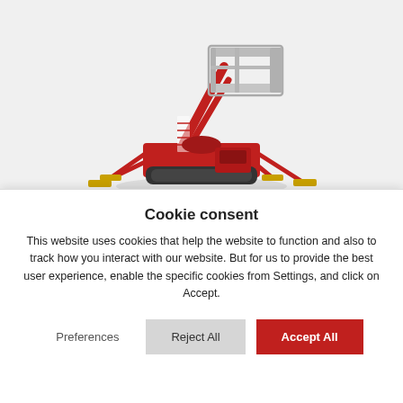[Figure (photo): A red spider lift / aerial work platform machine with four outrigger legs, tracked drive, and an elevated work basket. Shown on a light gray background.]
Cookie consent
This website uses cookies that help the website to function and also to track how you interact with our website. But for us to provide the best user experience, enable the specific cookies from Settings, and click on Accept.
Preferences
Reject All
Accept All